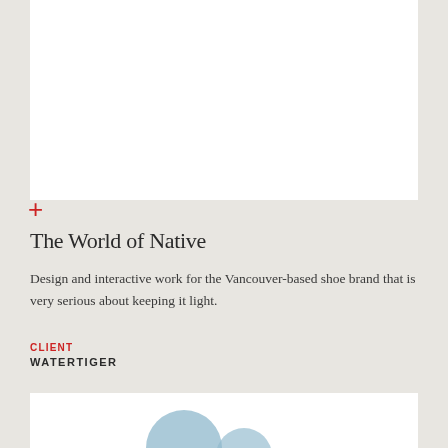[Figure (photo): White rectangular area representing a project image at the top of the page]
The World of Native
Design and interactive work for the Vancouver-based shoe brand that is very serious about keeping it light.
CLIENT
WATERTIGER
[Figure (illustration): White rectangular area at the bottom with blue circular decorative shapes partially visible]